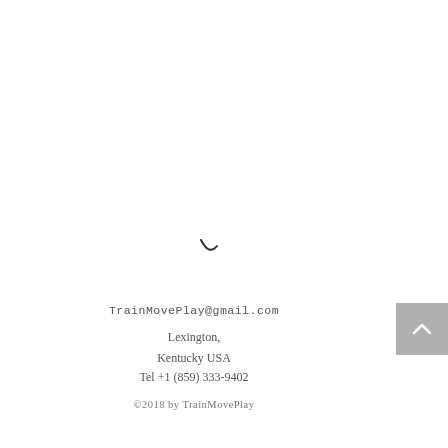[Figure (illustration): Small decorative squiggle or crescent-like mark in dark color, centered slightly left of middle of the page]
TrainMovePlay@gmail.com
Lexington,
Kentucky USA
Tel +1 (859) 333-9402
©2018 by TrainMovePlay